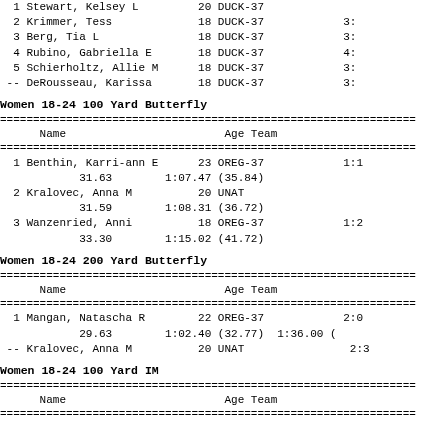| Place | Name | Age | Team | Time |
| --- | --- | --- | --- | --- |
| 1 | Stewart, Kelsey L | 20 | DUCK-37 |  |
| 2 | Krimmer, Tess | 18 | DUCK-37 | 3: |
| 3 | Berg, Tia L | 18 | DUCK-37 | 3: |
| 4 | Rubino, Gabriella E | 18 | DUCK-37 | 4: |
| 5 | Schierholtz, Allie M | 18 | DUCK-37 | 3: |
| -- | DeRousseau, Karissa | 18 | DUCK-37 | 3: |
Women 18-24 100 Yard Butterfly
| Name | Age | Team | Time |
| --- | --- | --- | --- |
| 1 Benthin, Karri-ann E | 23 | OREG-37 | 1: |
|  | 31.63 | 1:07.47 (35.84) |  |
| 2 Kralovec, Anna M | 20 | UNAT |  |
|  | 31.59 | 1:08.31 (36.72) |  |
| 3 Wanzenried, Anni | 18 | OREG-37 | 1:2 |
|  | 33.30 | 1:15.02 (41.72) |  |
Women 18-24 200 Yard Butterfly
| Name | Age | Team | Time |
| --- | --- | --- | --- |
| 1 Mangan, Natascha R | 22 | OREG-37 | 2:0 |
|  | 29.63 | 1:02.40 (32.77) | 1:36.00 ( |
| -- Kralovec, Anna M | 20 | UNAT | 2:3 |
Women 18-24 100 Yard IM
| Name | Age | Team |
| --- | --- | --- |